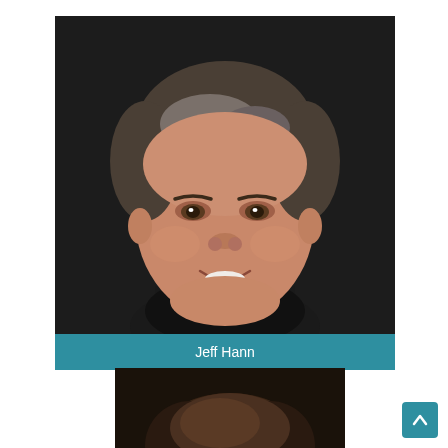[Figure (photo): Professional headshot portrait of Jeff Hann, a middle-aged man with gray-brown hair, smiling, against a dark background]
Jeff Hann
[Figure (photo): Partial headshot of a second person with dark hair, cropped at the top of the page section]
[Figure (other): Scroll-to-top button in teal/blue color with an upward arrow, positioned bottom right]